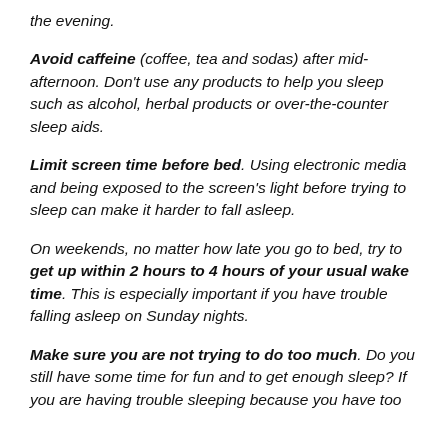the evening.
Avoid caffeine (coffee, tea and sodas) after mid-afternoon. Don't use any products to help you sleep such as alcohol, herbal products or over-the-counter sleep aids.
Limit screen time before bed. Using electronic media and being exposed to the screen's light before trying to sleep can make it harder to fall asleep.
On weekends, no matter how late you go to bed, try to get up within 2 hours to 4 hours of your usual wake time. This is especially important if you have trouble falling asleep on Sunday nights.
Make sure you are not trying to do too much. Do you still have some time for fun and to get enough sleep? If you are having trouble sleeping because you have too